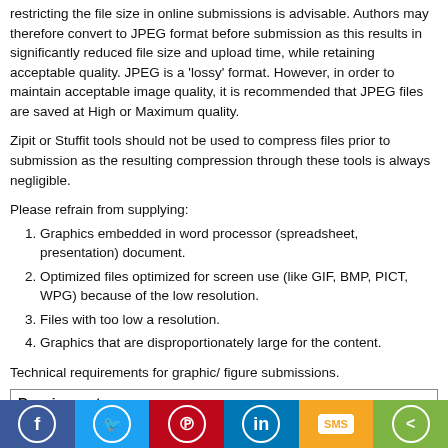restricting the file size in online submissions is advisable. Authors may therefore convert to JPEG format before submission as this results in significantly reduced file size and upload time, while retaining acceptable quality. JPEG is a 'lossy' format. However, in order to maintain acceptable image quality, it is recommended that JPEG files are saved at High or Maximum quality.
Zipit or Stuffit tools should not be used to compress files prior to submission as the resulting compression through these tools is always negligible.
Please refrain from supplying:
Graphics embedded in word processor (spreadsheet, presentation) document.
Optimized files optimized for screen use (like GIF, BMP, PICT, WPG) because of the low resolution.
Files with too low a resolution.
Graphics that are disproportionately large for the content.
Technical requirements for graphic/ figure submissions.
| Requirement |
| --- |
| Width = 8.5 inches (In-between the required size) |
| Height = 11 inches (In-between the required size) |